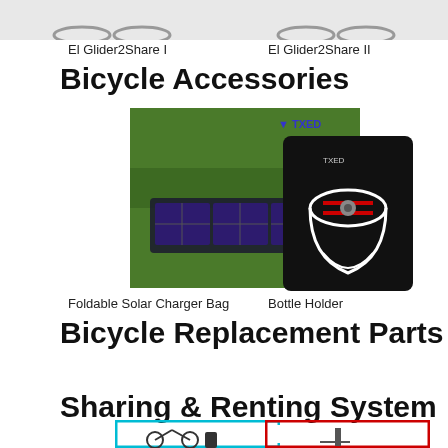El Glider2Share I
El Glider2Share II
Bicycle Accessories
[Figure (photo): Foldable solar charger bag unfolded on grass]
[Figure (photo): Bottle holder accessory in black packaging with TXED logo]
Foldable Solar Charger Bag
Bottle Holder
Bicycle Replacement Parts
Sharing & Renting System
[Figure (illustration): Bicycle sharing system icon with teal border showing bicycle and phone]
[Figure (illustration): Bicycle renting system icon with red border showing bicycle]